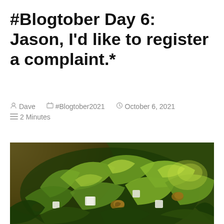#Blogtober Day 6: Jason, I'd like to register a complaint.*
Dave  #Blogtober2021  October 6, 2021  2 Minutes
[Figure (photo): Close-up photograph of a green salad with leafy lettuce, walnuts, white cheese cubes, in a wooden bowl]